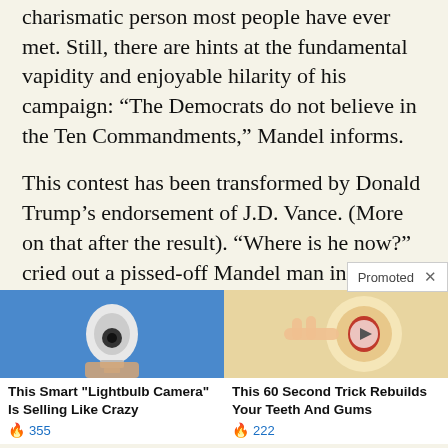charismatic person most people have ever met. Still, there are hints at the fundamental vapidity and enjoyable hilarity of his campaign: “The Democrats do not believe in the Ten Commandments,” Mandel informs.
This contest has been transformed by Donald Trump’s endorsement of J.D. Vance. (More on that after the result). “Where is he now?” cried out a pissed-off Mandel man in the pew.
[Figure (photo): Advertisement image of a smart lightbulb camera device held in a hand against a blue background]
This Smart "Lightbulb Camera" Is Selling Like Crazy
🔥 355
[Figure (illustration): Advertisement illustration showing a cross-section of a tooth with a hand, dental health related]
This 60 Second Trick Rebuilds Your Teeth And Gums
🔥 222